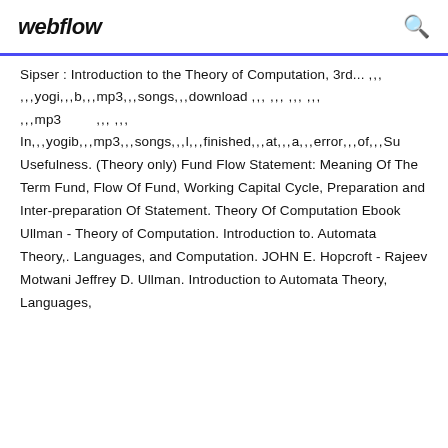webflow [search icon]
Sipser : Introduction to the Theory of Computation, 3rd... ,,,
,,,yogi,,,b,,,mp3,,,songs,,,download ,,, ,,, ,,, ,,,
,,,mp3          ,,, ,,,
In,,,yogib,,,mp3,,,songs,,,l,,,finished,,,at,,,a,,,error,,,of,,,Su
Usefulness. (Theory only) Fund Flow Statement: Meaning Of The Term Fund, Flow Of Fund, Working Capital Cycle, Preparation and Inter-preparation Of Statement. Theory Of Computation Ebook Ullman - Theory of Computation. Introduction to. Automata Theory,. Languages, and Computation. JOHN E. Hopcroft - Rajeev Motwani Jeffrey D. Ullman. Introduction to Automata Theory, Languages,